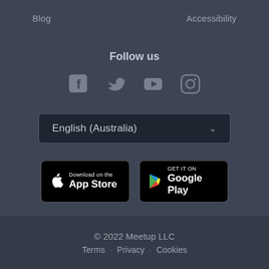Blog
Accessibility
Follow us
[Figure (infographic): Social media icons: Facebook, Twitter, YouTube, Instagram]
English (Australia)
[Figure (infographic): Download on the App Store button]
[Figure (infographic): Get it on Google Play button]
© 2022 Meetup LLC
Terms · Privacy · Cookies